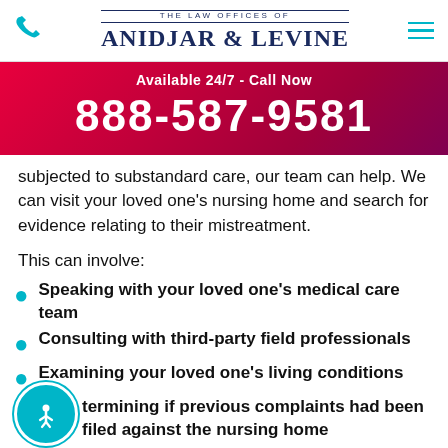The Law Offices of Anidjar & Levine
Available 24/7 - Call Now
888-587-9581
subjected to substandard care, our team can help. We can visit your loved one's nursing home and search for evidence relating to their mistreatment.
This can involve:
Speaking with your loved one's medical care team
Consulting with third-party field professionals
Examining your loved one's living conditions
termining if previous complaints had been filed against the nursing home